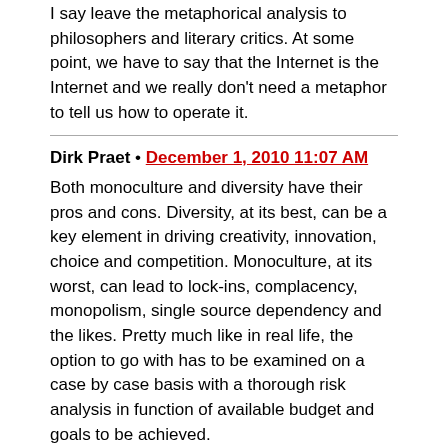I say leave the metaphorical analysis to philosophers and literary critics. At some point, we have to say that the Internet is the Internet and we really don't need a metaphor to tell us how to operate it.
Dirk Praet • December 1, 2010 11:07 AM
Both monoculture and diversity have their pros and cons. Diversity, at its best, can be a key element in driving creativity, innovation, choice and competition. Monoculture, at its worst, can lead to lock-ins, complacency, monopolism, single source dependency and the likes. Pretty much like in real life, the option to go with has to be examined on a case by case basis with a thorough risk analysis in function of available budget and goals to be achieved.
Sam • December 1, 2010 11:26 AM
@Lamont – You've got it backwards… you are agreeing with Bruce.
Clive Robinson • December 1, 2010 12:32 PM